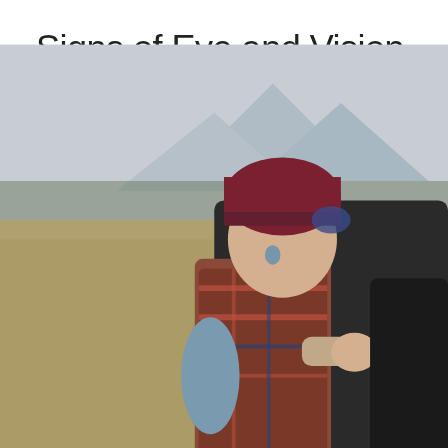Signs of Eye and Vision Problems in Infants
Feb 27, 2018
Infant
[Figure (photo): A small child wearing a red/maroon knit beanie hat and plaid jacket being held by an adult in a dark jacket, outdoors with mountains and dry grassland in the background.]
Eyesight
Despite nine months of growth in utero, babies are not born with fully developed eyes and vision - just like they can't walk or talk yet. Over the first few months of life, their visual